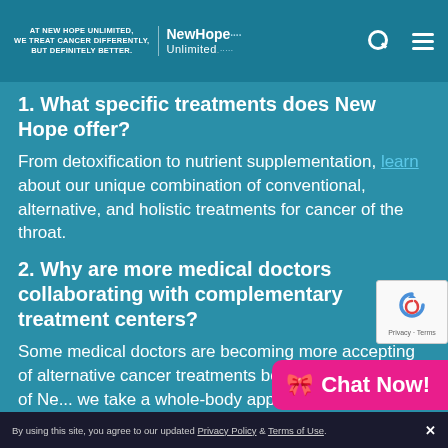AT NEW HOPE UNLIMITED, WE TREAT CANCER DIFFERENTLY, BUT DEFINITELY BETTER. | NewHope Unlimited.
1. What specific treatments does New Hope offer?
From detoxification to nutrient supplementation, learn about our unique combination of conventional, alternative, and holistic treatments for cancer of the throat.
2. Why are more medical doctors collaborating with complementary treatment centers?
Some medical doctors are becoming more accepting of alternative cancer treatments because, in the case of Ne... we take a whole-body app...
[Figure (logo): reCAPTCHA logo with Privacy and Terms links]
[Figure (other): Pink Chat Now button with ribbon icon]
By using this site, you agree to our updated Privacy Policy & Terms of Use.  X